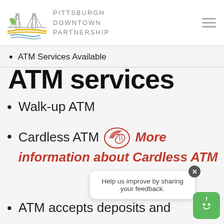[Figure (logo): Pittsburgh Downtown Partnership logo with bridge and river illustration, and text PITTSBURGH DOWNTOWN PARTNERSHIP]
ATM Services Available
ATM services
Walk-up ATM
Cardless ATM [NFC icon] More information about Cardless ATM
ATM accepts deposits and